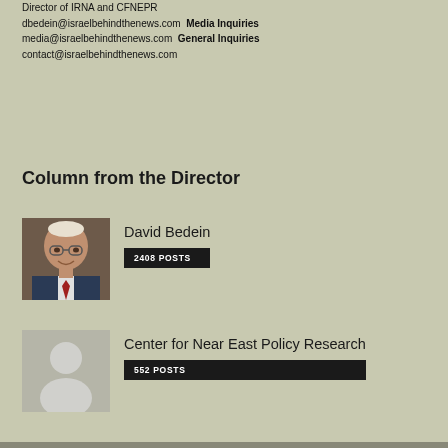Director of IRNA and CFNEPR
dbedein@israelbehindthenews.com  Media Inquiries
media@israelbehindthenews.com  General Inquiries
contact@israelbehindthenews.com
Column from the Director
David Bedein
2408 POSTS
Center for Near East Policy Research
552 POSTS